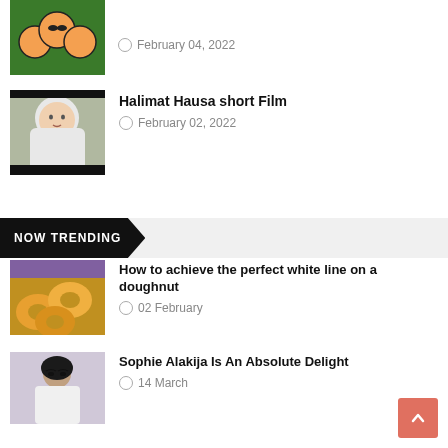[Figure (photo): Thumbnail image of cartoon characters on green background]
February 04, 2022
Halimat Hausa short Film
[Figure (photo): Thumbnail of woman in white headscarf outdoors]
February 02, 2022
NOW TRENDING
How to achieve the perfect white line on a doughnut
[Figure (photo): Thumbnail of doughnuts]
02 February
Sophie Alakija Is An Absolute Delight
[Figure (photo): Thumbnail of Sophie Alakija]
14 March
Full Story how the owner of fireman company Ignatius Odunukwe was lured, kidnapped and killed by fake real estate agents.
[Figure (photo): Thumbnail collage of elderly man and people]
21 January